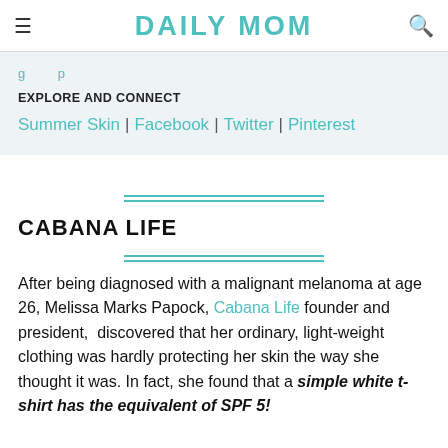DAILY MOM
EXPLORE AND CONNECT
Summer Skin | Facebook | Twitter | Pinterest
CABANA LIFE
After being diagnosed with a malignant melanoma at age 26, Melissa Marks Papock, Cabana Life founder and president,  discovered that her ordinary, light-weight clothing was hardly protecting her skin the way she thought it was. In fact, she found that a simple white t-shirt has the equivalent of SPF 5!